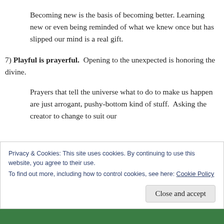Becoming new is the basis of becoming better. Learning new or even being reminded of what we knew once but has slipped our mind is a real gift.
7) Playful is prayerful.  Opening to the unexpected is honoring the divine.
Prayers that tell the universe what to do to make us happen are just arrogant, pushy-bottom kind of stuff.  Asking the creator to change to suit our
Privacy & Cookies: This site uses cookies. By continuing to use this website, you agree to their use.
To find out more, including how to control cookies, see here: Cookie Policy
Close and accept
Advertisements